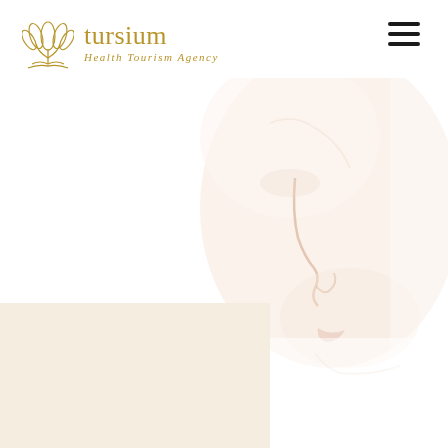[Figure (logo): Tursium Health Tourism Agency logo with golden tulip/flower icon and text]
[Figure (photo): Close-up side profile of a woman's face showing nose and lips, very light/faded skin tones on white background]
[Figure (other): Cream/beige colored panel in bottom left corner]